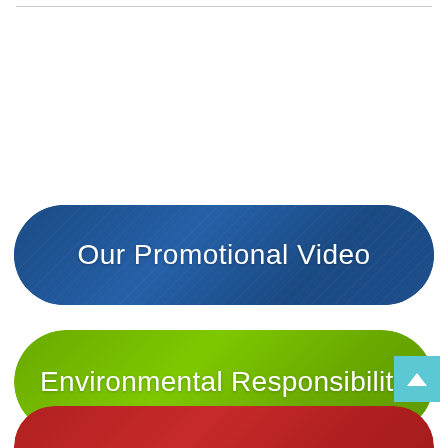[Figure (infographic): Blue rounded rectangle button/banner with text 'Our Promotional Video' in white, with subtle product imagery in background]
[Figure (infographic): Green rounded rectangle button/banner with text 'Environmental Responsibility' in white, with subtle product imagery in background]
[Figure (infographic): Red rounded rectangle button/banner partially visible at bottom with text partially cut off, with subtle product imagery in background]